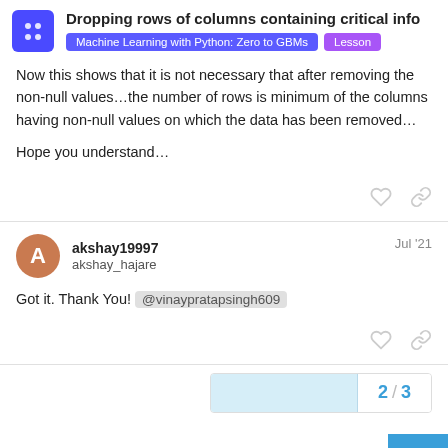Dropping rows of columns containing critical info | Machine Learning with Python: Zero to GBMs | Lesson
Now this shows that it is not necessary that after removing the non-null values…the number of rows is minimum of the columns having non-null values on which the data has been removed…

Hope you understand…
akshay19997 akshay_hajare | Jul '21
Got it. Thank You! @vinaypratapsingh609